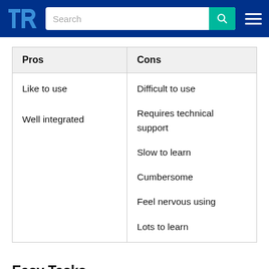TrustRadius navigation header with search bar
| Pros | Cons |
| --- | --- |
| Like to use

Well integrated | Difficult to use

Requires technical support

Slow to learn

Cumbersome

Feel nervous using

Lots to learn |
Easy Tasks